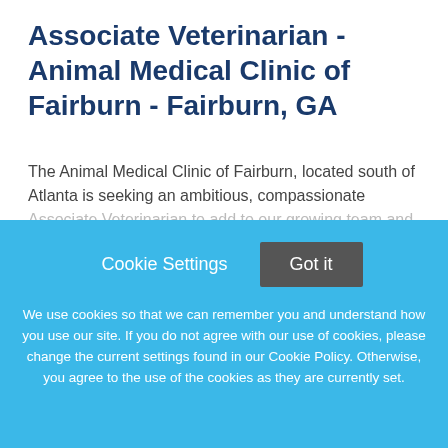Associate Veterinarian - Animal Medical Clinic of Fairburn - Fairburn, GA
The Animal Medical Clinic of Fairburn, located south of Atlanta is seeking an ambitious, compassionate Associate Veterinarian to add to our growing team and hospital. Earn up to $225,000 in 5 years with our
This job listing is no longer active.
Cookie Settings
Got it
We use cookies so that we can remember you and understand how you use our site. If you do not agree with our use of cookies, please change the current settings found in our Cookie Policy. Otherwise, you agree to the use of the cookies as they are currently set.